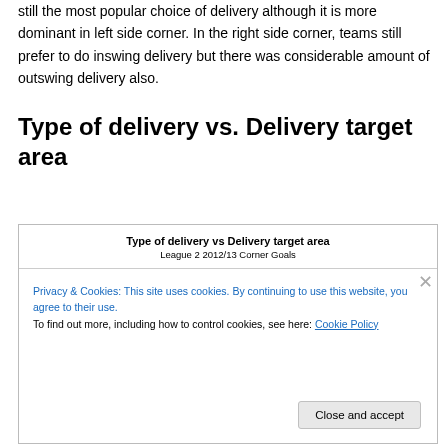still the most popular choice of delivery although it is more dominant in left side corner. In the right side corner, teams still prefer to do inswing delivery but there was considerable amount of outswing delivery also.
Type of delivery vs. Delivery target area
[Figure (other): Partial chart showing 'Type of delivery vs Delivery target area' for League 2 2012/13 Corner Goals, obscured by a cookie consent overlay]
Privacy & Cookies: This site uses cookies. By continuing to use this website, you agree to their use.
To find out more, including how to control cookies, see here: Cookie Policy
Close and accept